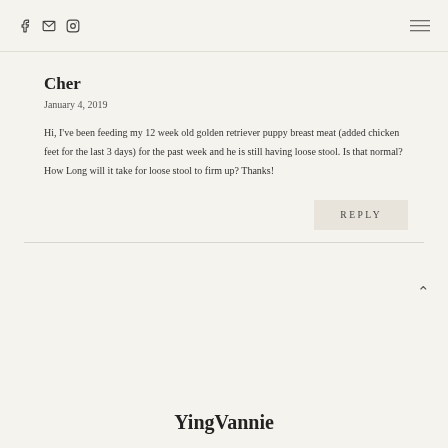Facebook | Email | Instagram | Menu
Cher
January 4, 2019
Hi, I've been feeding my 12 week old golden retriever puppy breast meat (added chicken feet for the last 3 days) for the past week and he is still having loose stool. Is that normal? How Long will it take for loose stool to firm up? Thanks!
REPLY
YingVannie